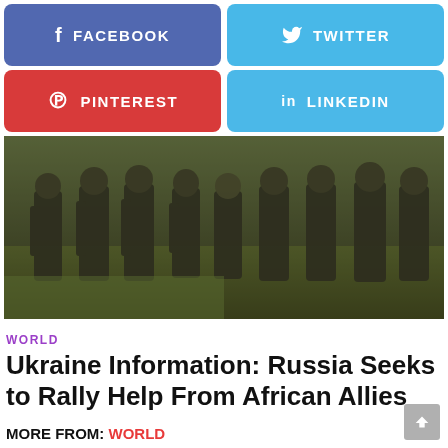[Figure (infographic): Facebook social share button (blue/purple)]
[Figure (infographic): Twitter social share button (light blue)]
[Figure (infographic): Pinterest social share button (red)]
[Figure (infographic): LinkedIn social share button (light blue)]
[Figure (photo): Military soldiers in camouflage uniforms marching in a line through a field]
WORLD
Ukraine Information: Russia Seeks to Rally Help From African Allies
MORE FROM: WORLD